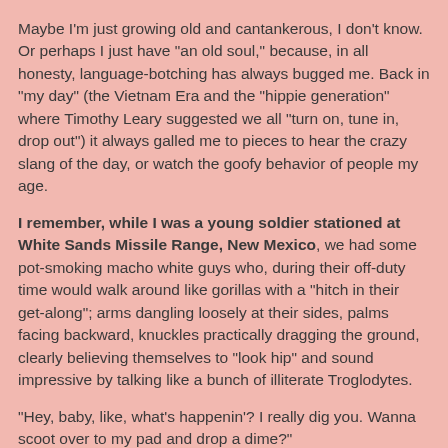Maybe I'm just growing old and cantankerous, I don't know. Or perhaps I just have "an old soul," because, in all honesty, language-botching has always bugged me. Back in "my day" (the Vietnam Era and the "hippie generation" where Timothy Leary suggested we all "turn on, tune in, drop out") it always galled me to pieces to hear the crazy slang of the day, or watch the goofy behavior of people my age.
I remember, while I was a young soldier stationed at White Sands Missile Range, New Mexico, we had some pot-smoking macho white guys who, during their off-duty time would walk around like gorillas with a "hitch in their get-along"; arms dangling loosely at their sides, palms facing backward, knuckles practically dragging the ground, clearly believing themselves to "look hip" and sound impressive by talking like a bunch of illiterate Troglodytes.
"Hey, baby, like, what's happenin'? I really dig you. Wanna scoot over to my pad and drop a dime?"
(As much as I hate to admit it, I was stupid enough to marry one of those buffoons, because he had me convinced he was the greatest man on earth — at least that's how he...